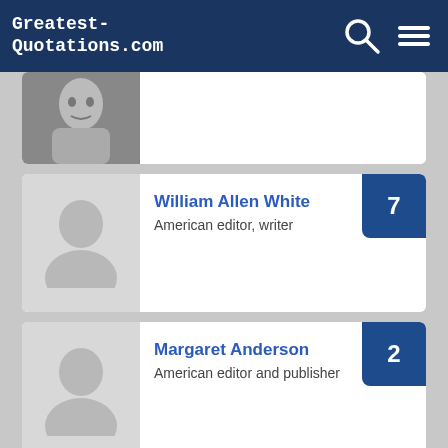Greatest-Quotations.com
[Figure (illustration): Partial person card with a black and white photo of a man, cropped at the top of the visible area]
William Allen White
American editor, writer
7
Margaret Anderson
American editor and publisher
2